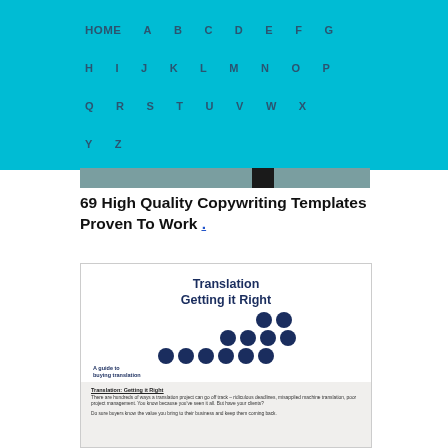HOME A B C D E F G H I J K L M N O P Q R S T U V W X Y Z
69 High Quality Copywriting Templates Proven To Work .
[Figure (illustration): Book cover image for 'Translation Getting it Right - A guide to buying translation' with dark blue dots in a staircase pattern and a brief interior page excerpt below.]